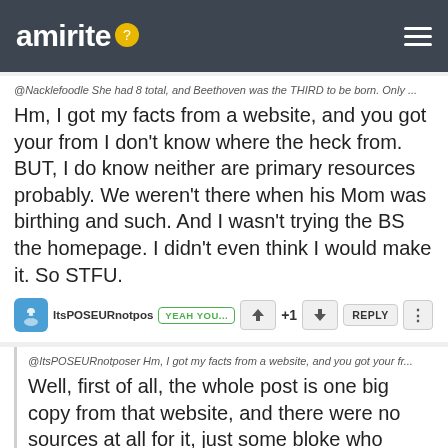amirite
@Nacklefoodle She had 8 total, and Beethoven was the THIRD to be born. Only ...
Hm, I got my facts from a website, and you got your from I don't know where the heck from. BUT, I do know neither are primary resources probably. We weren't there when his Mom was birthing and such. And I wasn't trying the BS the homepage. I didn't even think I would make it. So STFU.
ItsPOSEURnotpos YEAH YOU... +1 REPLY
@ItsPOSEURnotposer Hm, I got my facts from a website, and you got your fr...
Well, first of all, the whole post is one big copy from that website, and there were no sources at all for it, just some bloke who thought he was being clever. I checked many, many resources and not one said about blindness and all those other listed. One source even confirmed this post wrong. Every source I